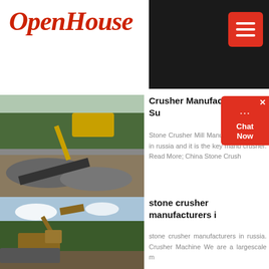OpenHouse
[Figure (photo): Construction site with excavator and crushed stone/mining equipment]
Crusher Manufacturer And Su
Stone Crusher Mill Manufacturer s mills in russia and it is the key manu crusher. Read More; China Stone Crush
[Figure (other): Chat Now widget overlay]
[Figure (photo): Excavator working in forest/quarry area]
stone crusher manufacturers i
stone crusher manufacturers in russia. Crusher Machine We are a largescale m